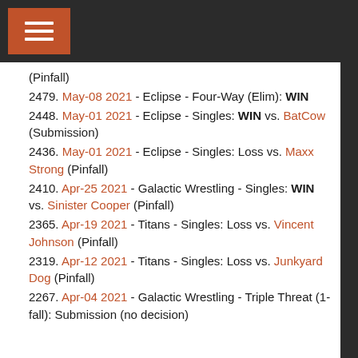Navigation menu header bar
(Pinfall)
2479. May-08 2021 - Eclipse - Four-Way (Elim): WIN
2448. May-01 2021 - Eclipse - Singles: WIN vs. BatCow (Submission)
2436. May-01 2021 - Eclipse - Singles: Loss vs. Maxx Strong (Pinfall)
2410. Apr-25 2021 - Galactic Wrestling - Singles: WIN vs. Sinister Cooper (Pinfall)
2365. Apr-19 2021 - Titans - Singles: Loss vs. Vincent Johnson (Pinfall)
2319. Apr-12 2021 - Titans - Singles: Loss vs. Junkyard Dog (Pinfall)
2267. Apr-04 2021 - Galactic Wrestling - Triple Threat (1-fall): Submission (no decision)